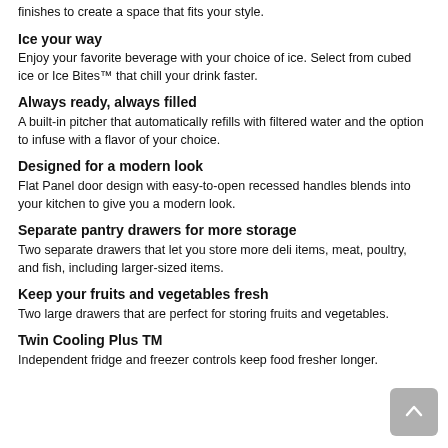finishes to create a space that fits your style.
Ice your way
Enjoy your favorite beverage with your choice of ice. Select from cubed ice or Ice Bites™ that chill your drink faster.
Always ready, always filled
A built-in pitcher that automatically refills with filtered water and the option to infuse with a flavor of your choice.
Designed for a modern look
Flat Panel door design with easy-to-open recessed handles blends into your kitchen to give you a modern look.
Separate pantry drawers for more storage
Two separate drawers that let you store more deli items, meat, poultry, and fish, including larger-sized items.
Keep your fruits and vegetables fresh
Two large drawers that are perfect for storing fruits and vegetables.
Twin Cooling Plus TM
Independent fridge and freezer controls keep food fresher longer.